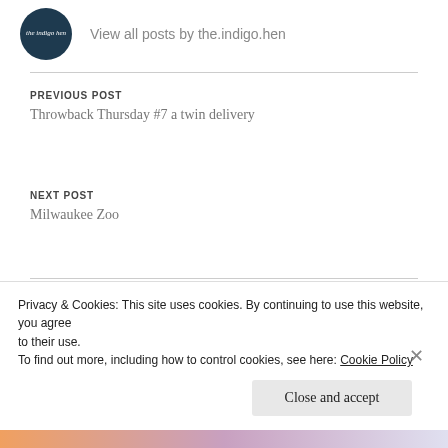View all posts by the.indigo.hen
PREVIOUS POST
Throwback Thursday #7 a twin delivery
NEXT POST
Milwaukee Zoo
LEAVE A REPLY
Your email address will not be published. Required fields are
Privacy & Cookies: This site uses cookies. By continuing to use this website, you agree to their use.
To find out more, including how to control cookies, see here: Cookie Policy
Close and accept